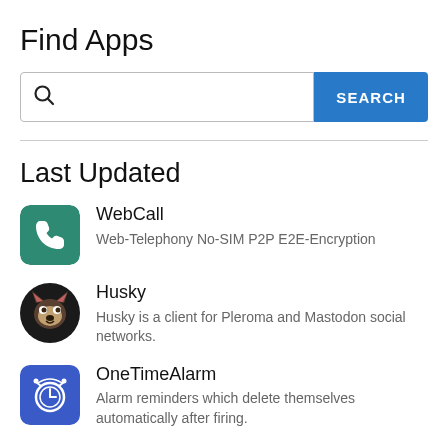Find Apps
[Figure (screenshot): Search bar with magnifying glass icon and blue SEARCH button]
Last Updated
WebCall — Web-Telephony No-SIM P2P E2E-Encryption
Husky — Husky is a client for Pleroma and Mastodon social networks.
OneTimeAlarm — Alarm reminders which delete themselves automatically after firing.